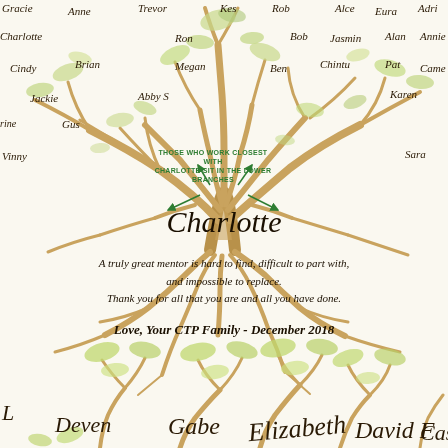[Figure (illustration): Watercolor family/mentor tree illustration with branches containing names of colleagues, roots visible below, green foliage. Upper tree shows names: Gracie, Anne, Trevor, Kes, Rob, Alce, Eura, Adri, Charlotte, Ron, Bob, Jasmin, Alan, Annie, Brian, Megan, Ben, Cintu, Pat, Came, Cindy, Jackie, Abby S, Gus, Karen, rine, Vinny, Sara. Green arrows point to annotation. Lower portion shows second tree with names: Deven, Gabe, Elizabeth, David F, Casey.]
THOSE WHO WORK CLOSEST WITH CHARLOTTE SIT IN THE LOWER BRANCHES
Charlotte
A truly great mentor is hard to find, difficult to part with, and impossible to replace. Thank you for all that you are and all you have done.
Love, Your CTP Family - December 2018